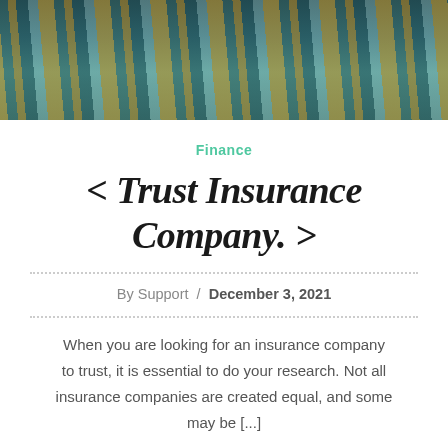[Figure (photo): Upward view of modern glass and gold skyscraper buildings with teal and gold tones]
Finance
< Trust Insurance Company. >
By Support / December 3, 2021
When you are looking for an insurance company to trust, it is essential to do your research. Not all insurance companies are created equal, and some may be [...]